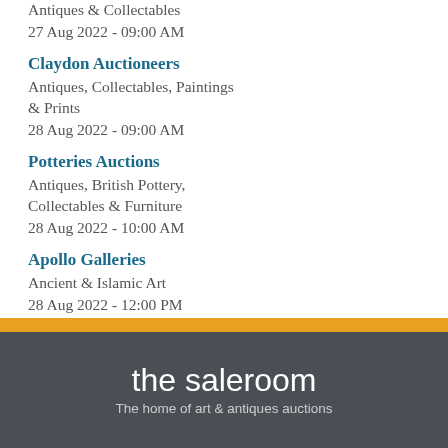Antiques & Collectables
27 Aug 2022 - 09:00 AM
Claydon Auctioneers
Antiques, Collectables, Paintings & Prints
28 Aug 2022 - 09:00 AM
Potteries Auctions
Antiques, British Pottery, Collectables & Furniture
28 Aug 2022 - 10:00 AM
Apollo Galleries
Ancient & Islamic Art
28 Aug 2022 - 12:00 PM
[Figure (logo): The Saleroom logo: yellow bar above dark grey box with white text 'the saleroom' and subtitle 'The home of art & antiques auctions']